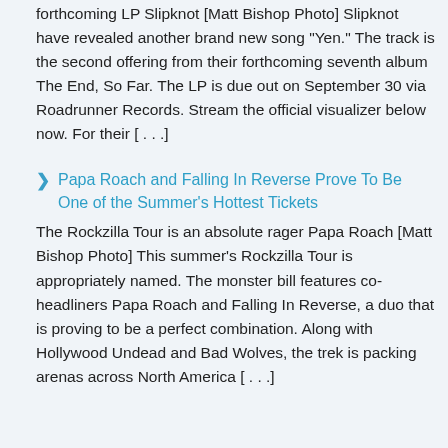forthcoming LP Slipknot [Matt Bishop Photo] Slipknot have revealed another brand new song "Yen." The track is the second offering from their forthcoming seventh album The End, So Far. The LP is due out on September 30 via Roadrunner Records. Stream the official visualizer below now. For their [...]
Papa Roach and Falling In Reverse Prove To Be One of the Summer's Hottest Tickets
The Rockzilla Tour is an absolute rager Papa Roach [Matt Bishop Photo] This summer's Rockzilla Tour is appropriately named. The monster bill features co-headliners Papa Roach and Falling In Reverse, a duo that is proving to be a perfect combination. Along with Hollywood Undead and Bad Wolves, the trek is packing arenas across North America [...]